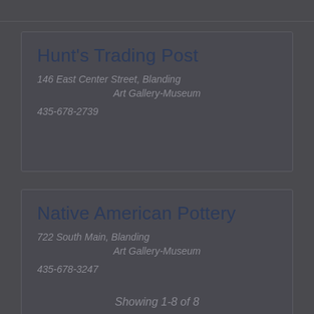Hunt's Trading Post
146 East Center Street, Blanding
Art Gallery-Museum
435-678-2739
Native American Pottery
722 South Main, Blanding
Art Gallery-Museum
435-678-3247
Showing  1-8 of 8